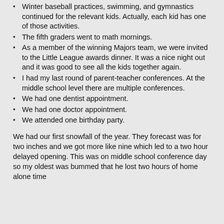Winter baseball practices, swimming, and gymnastics continued for the relevant kids. Actually, each kid has one of those activities.
The fifth graders went to math mornings.
As a member of the winning Majors team, we were invited to the Little League awards dinner.  It was a nice night out and it was good to see all the kids together again.
I had my last round of parent-teacher conferences.  At the middle school level there are multiple conferences.
We had one dentist appointment.
We had one doctor appointment.
We attended one birthday party.
We had our first snowfall of the year.  They forecast was for two inches and we got more like nine which led to a two hour delayed opening.  This was on middle school conference day so my oldest was bummed that he lost two hours of home alone time